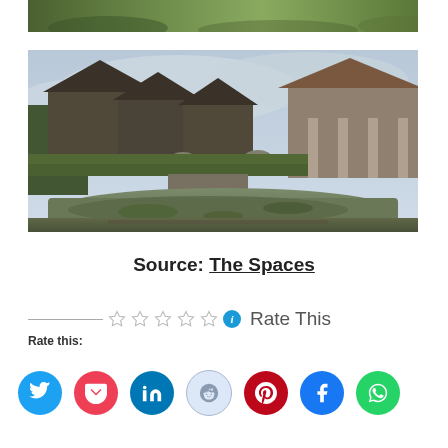[Figure (photo): Top cropped strip of a green outdoor scene, partially visible]
[Figure (photo): Panoramic photo of an abandoned Balinese resort or hotel complex with overgrown vegetation, a murky reflecting pool in the foreground, and traditional tiered roofed buildings in the background under an overcast sky]
Source: The Spaces
Rate This
Rate this:
[Figure (other): Social sharing buttons: Twitter (blue), Pocket (red), LinkedIn (dark blue), Reddit (light blue), Pinterest (dark red), Facebook (blue), WhatsApp (green)]